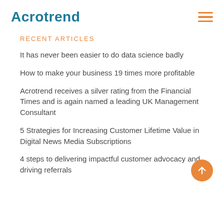Acrotrend
Recent Articles
It has never been easier to do data science badly
How to make your business 19 times more profitable
Acrotrend receives a silver rating from the Financial Times and is again named a leading UK Management Consultant
5 Strategies for Increasing Customer Lifetime Value in Digital News Media Subscriptions
4 steps to delivering impactful customer advocacy and driving referrals